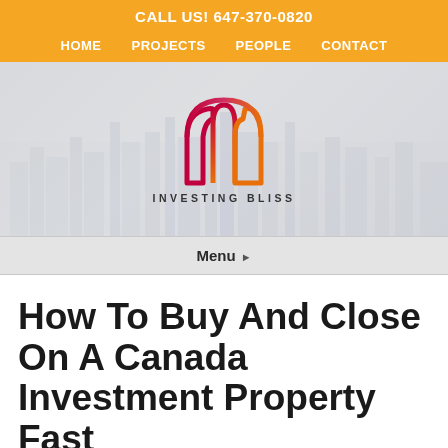CALL US! 647-370-0820
HOME   PROJECTS   PEOPLE   CONTACT
[Figure (logo): Investing Bliss logo: stylized house/arch icon in red-to-orange gradient with text INVESTING BLISS below]
Menu ▸
How To Buy And Close On A Canada Investment Property Fast